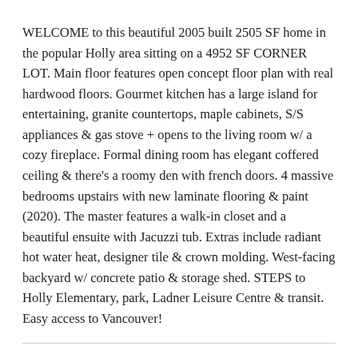WELCOME to this beautiful 2005 built 2505 SF home in the popular Holly area sitting on a 4952 SF CORNER LOT. Main floor features open concept floor plan with real hardwood floors. Gourmet kitchen has a large island for entertaining, granite countertops, maple cabinets, S/S appliances & gas stove + opens to the living room w/ a cozy fireplace. Formal dining room has elegant coffered ceiling & there's a roomy den with french doors. 4 massive bedrooms upstairs with new laminate flooring & paint (2020). The master features a walk-in closet and a beautiful ensuite with Jacuzzi tub. Extras include radiant hot water heat, designer tile & crown molding. West-facing backyard w/ concrete patio & storage shed. STEPS to Holly Elementary, park, Ladner Leisure Centre & transit. Easy access to Vancouver!